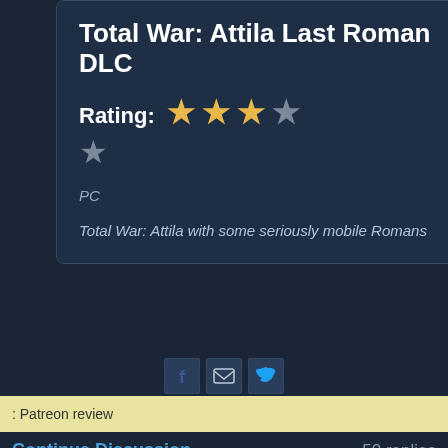Total War: Attila Last Roman DLC
Rating: ★★★☆☆ (3 out of 5 stars)
PC
Total War: Attila with some seriously mobile Romans
Patreon review
Continue Discussion
50 replies
Telefrog Critical hit! Jan '17
[quote]